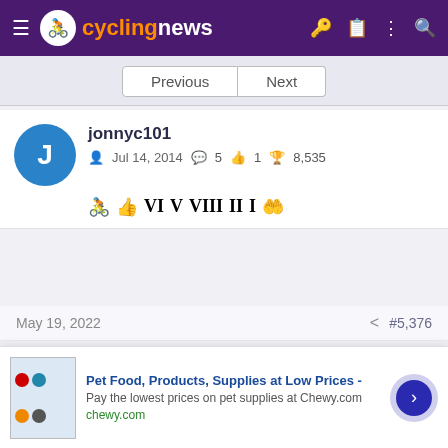cyclingnews
Previous | Next
jonnyc101
Jul 14, 2014  5  1  8,535
May 19, 2022  #5,376
Potomac said:
I think good commentary needs to assume a portion of the audience is new to the sport and welcome them with periodic explanations. The show broadcast time is long and viewers, new to the sport and
[Figure (screenshot): Advertisement banner for Chewy.com: Pet Food, Products, Supplies at Low Prices - Pay the lowest prices on pet supplies at Chewy.com]